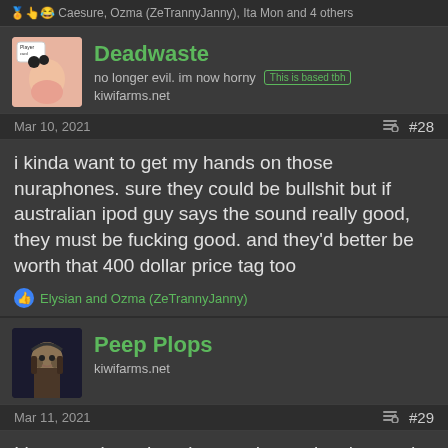Caesure, Ozma (ZeTrannyJanny), Ita Mon and 4 others
Deadwaste
no longer evil. im now horny   This is based tbh
kiwifarms.net
Mar 10, 2021   #28
i kinda want to get my hands on those nuraphones. sure they could be bullshit but if australian ipod guy says the sound really good, they must be fucking good. and they'd better be worth that 400 dollar price tag too
Elysian and Ozma (ZeTrannyJanny)
Peep Plops
kiwifarms.net
Mar 11, 2021   #29
I love music and equipment that makes it sound nice so I'll gladly accept the audiophile label. I used to be more of a "objective" type of hobbyist because like th